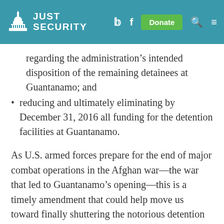Just Security
regarding the administration's intended disposition of the remaining detainees at Guantanamo; and
reducing and ultimately eliminating by December 31, 2016 all funding for the detention facilities at Guantanamo.
As U.S. armed forces prepare for the end of major combat operations in the Afghan war—the war that led to Guantanamo's opening—this is a timely amendment that could help move us toward finally shuttering the notorious detention center in Cuba. At a cost of $2.8 million per detainee annually, it's perhaps